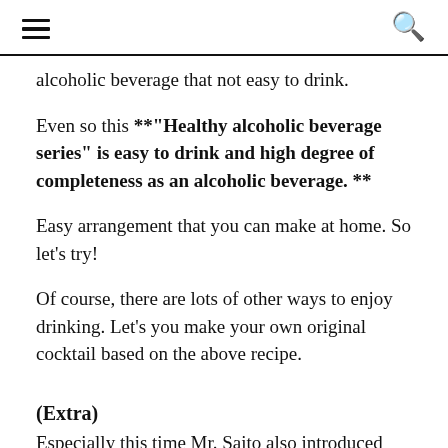≡  🔍
alcoholic beverage that not easy to drink.
Even so this **"Healthy alcoholic beverage series" is easy to drink and high degree of completeness as an alcoholic beverage. **
Easy arrangement that you can make at home. So let's try!
Of course, there are lots of other ways to enjoy drinking. Let's you make your own original cocktail based on the above recipe.
(Extra)
Especially this time Mr. Saito also introduced cold